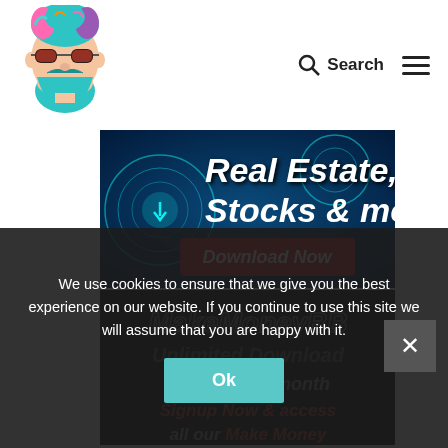[Figure (logo): Illustrated logo of a bearded man with sunglasses and colorful hair]
Search
[Figure (illustration): Banner advertisement showing 'Real Estate, Stocks & more' with a Download Now button on a dark blue tech background]
[Figure (illustration): Banner advertisement for MakeMoneyBB offering Unlimited Download for Only $25/month with Signup Now & access all our Make Money content]
We use cookies to ensure that we give you the best experience on our website. If you continue to use this site we will assume that you are happy with it.
Ok